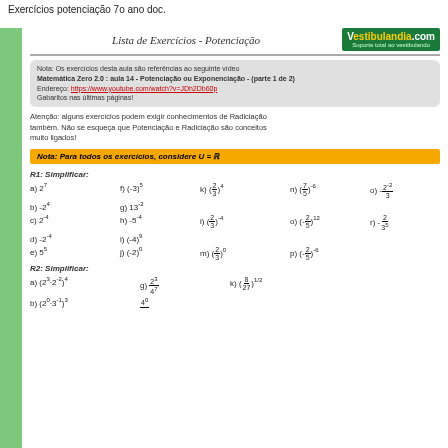Exercícios potenciação 7o ano doc.
Lista de Exercícios - Potenciação
Nota: Os exercícios desta aula são referências ao seguinte vídeo Matemática Zero 2.0 : aula 14 - Potenciação ou Exponenciação - (parte 1 de 2) Endereço: https://www.youtube.com/watch?v=JDh2Db60p Gabaritos nas últimas páginas!
Atenção: alguns exercícios podem exigir conhecimentos de Radiciação também. Não se esqueça que Potenciação e Radiciação são conceitos muito ligados!
Nota: Para todos os exercícios, considere U = ℝ
R1: Simplificar:
a) 2⁷   f) (-3)⁵   k) (2/3)⁴   n) (7/5)⁻⁶   o) -2⁻²/3
b) -2⁴   g) 13⁻²
c) 2⁻⁴   h) -5⁻⁴   i) (2/3)⁻⁴   o) (-2/5)¹²   r) -2/3⁵
d) -2⁻⁴   i) (-4)⁹
e) 5⁵   j) (-2)⁰   m) (2/3)⁰   p) (-2/5)⁻⁶
R2: Simplificar:
a) (2³·2⁻²)⁴   g) 2³/4⁷   k) (8/27)^(1/2)
b) (2⁰·3⁻¹)³